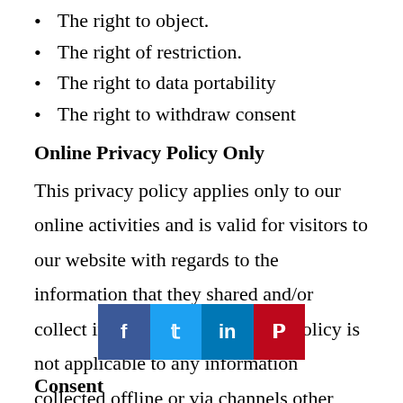The right to object.
The right of restriction.
The right to data portability
The right to withdraw consent
Online Privacy Policy Only
This privacy policy applies only to our online activities and is valid for visitors to our website with regards to the information that they shared and/or collect in DonMelvin.com. This policy is not applicable to any information collected offline or via channels other than this website.
Consent